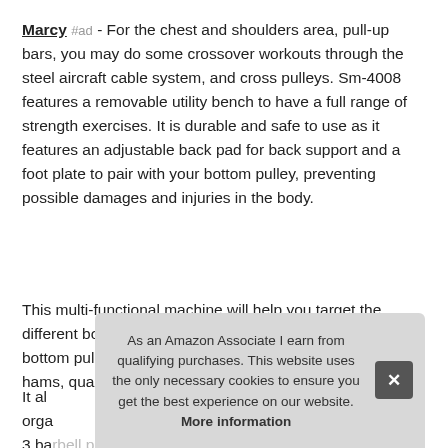Marcy #ad - For the chest and shoulders area, pull-up bars, you may do some crossover workouts through the steel aircraft cable system, and cross pulleys. Sm-4008 features a removable utility bench to have a full range of strength exercises. It is durable and safe to use as it features an adjustable back pad for back support and a foot plate to pair with your bottom pulley, preventing possible damages and injuries in the body.
This multi-functional machine will help you target the different body parts. For thighs and legs training, the bottom pulley and leg developer allow you to target the hams, quads, and glutes.
It al... orga... 3 bar...
As an Amazon Associate I earn from qualifying purchases. This website uses the only necessary cookies to ensure you get the best experience on our website. More information